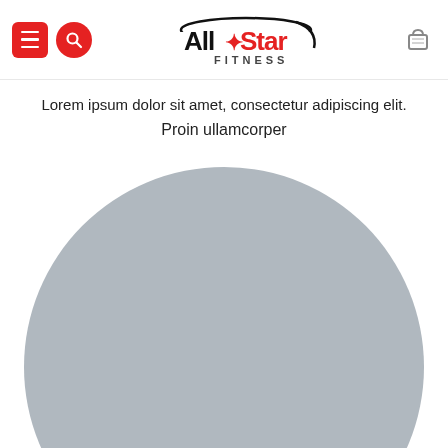All-Star Fitness navigation header with menu, search, logo, and cart icons
Lorem ipsum dolor sit amet, consectetur adipiscing elit. Proin ullamcorper
[Figure (illustration): Large grey circular placeholder image, partially cropped at bottom of page]